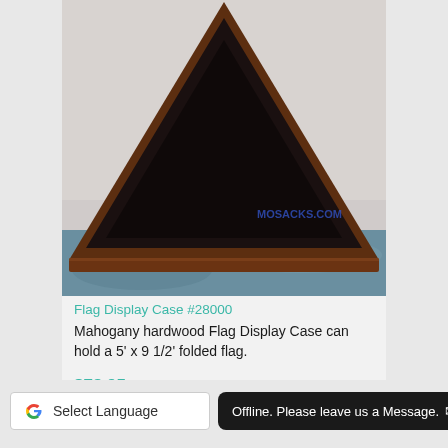[Figure (photo): A triangular mahogany hardwood flag display case with black velvet interior, photographed from the front against a white background with a blue cloth at the bottom. A watermark reading 'MOSACKS.COM' is visible in blue text on the right side.]
Flag Display Case #28000
Mahogany hardwood Flag Display Case can hold a 5' x 9 1/2' folded flag.
$78.95
Select Language
Offline. Please leave us a Message.